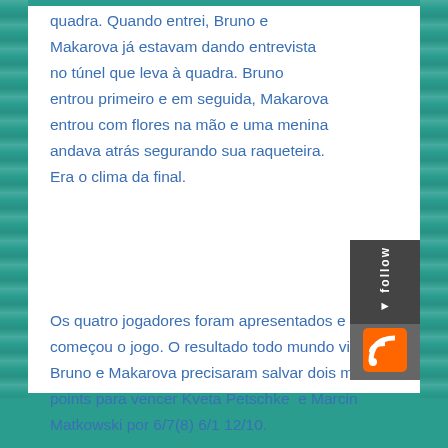quadra. Quando entrei, Bruno e Makarova já estavam dando entrevista no túnel que leva à quadra. Bruno entrou primeiro e em seguida, Makarova entrou com flores na mão e uma menina andava atrás segurando sua raqueteira. Era o clima da final.
Os quatro jogadores foram apresentados e começou o jogo. O resultado todo mundo viu. Bruno e Makarova precisaram salvar dois match points para vencer Kveta Petschke  e Marcin Matkowski por 6/7(8) 6/1 12/10.